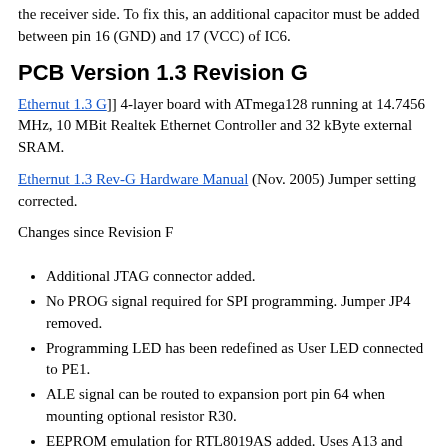the receiver side. To fix this, an additional capacitor must be added between pin 16 (GND) and 17 (VCC) of IC6.
PCB Version 1.3 Revision G
Ethernut 1.3 G]] 4-layer board with ATmega128 running at 14.7456 MHz, 10 MBit Realtek Ethernet Controller and 32 kByte external SRAM.
Ethernut 1.3 Rev-G Hardware Manual (Nov. 2005) Jumper setting corrected.
Changes since Revision F
Additional JTAG connector added.
No PROG signal required for SPI programming. Jumper JP4 removed.
Programming LED has been redefined as User LED connected to PE1.
ALE signal can be routed to expansion port pin 64 when mounting optional resistor R30.
EEPROM emulation for RTL8019AS added. Uses A13 and A14 , so no additional port pins are required. This